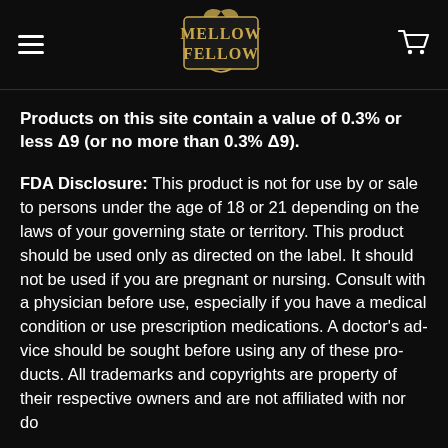[Figure (logo): Mellow Fellow brand logo in vintage ornate style with gold/cream lettering on dark background]
Products on this site contain a value of 0.3% or less Δ9 (or no more than 0.3% Δ9).
FDA Disclosure: This product is not for use by or sale to persons under the age of 18 or 21 depending on the laws of your governing state or territory. This product should be used only as directed on the label. It should not be used if you are pregnant or nursing. Consult with a physician before use, especially if you have a medical condition or use prescription medications. A doctor's advice should be sought before using any of these products. All trademarks and copyrights are property of their respective owners and are not affiliated with nor do